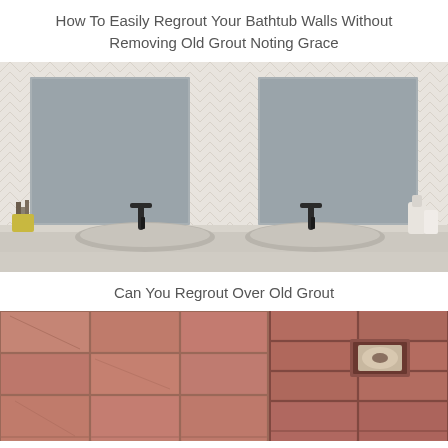How To Easily Regrout Your Bathtub Walls Without Removing Old Grout Noting Grace
[Figure (photo): Modern bathroom with double sinks, two rectangular frameless mirrors, black faucets, and white chevron-patterned tile wall]
Can You Regrout Over Old Grout
[Figure (photo): Close-up of terracotta/salmon colored bathroom tiles with grout lines, and a recessed toilet paper holder]